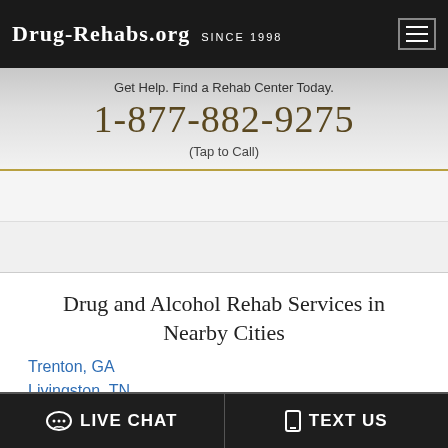Drug-Rehabs.org Since 1998
Get Help. Find a Rehab Center Today.
1-877-882-9275
(Tap to Call)
Drug and Alcohol Rehab Services in Nearby Cities
Trenton, GA
Livingston, TN
Owens Cross Roads, AL
Ringgold, GA
LIVE CHAT   TEXT US